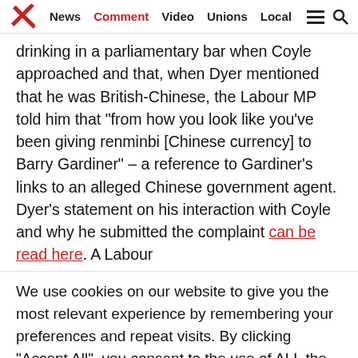News | Comment | Video | Unions | Local
drinking in a parliamentary bar when Coyle approached and that, when Dyer mentioned that he was British-Chinese, the Labour MP told him that “from how you look like you’ve been giving renminbi [Chinese currency] to Barry Gardiner” – a reference to Gardiner’s links to an alleged Chinese government agent. Dyer’s statement on his interaction with Coyle and why he submitted the complaint can be read here. A Labour
We use cookies on our website to give you the most relevant experience by remembering your preferences and repeat visits. By clicking “Accept All”, you consent to the use of ALL the cookies. However, you may visit "Cookie Settings" to provide a controlled consent.